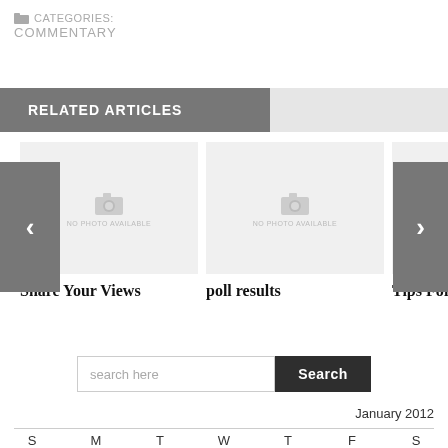CATEGORIES: COMMENTARY
RELATED ARTICLES
[Figure (screenshot): Carousel with three article thumbnails: 'Share Your Views', 'poll results', 'Tips For Winter', each with a placeholder image showing a camera icon and 'NO PHOTO AVAILABLE' text, with left and right navigation arrows]
Share Your Views
poll results
Tips For Winter
search here
January 2012
| S | M | T | W | T | F | S |
| --- | --- | --- | --- | --- | --- | --- |